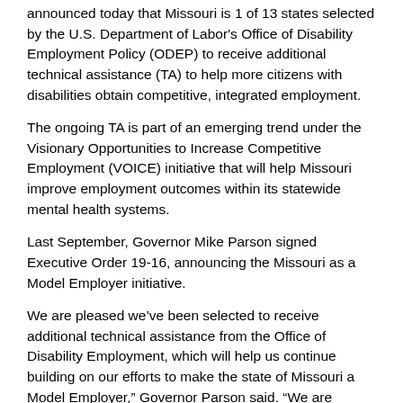announced today that Missouri is 1 of 13 states selected by the U.S. Department of Labor's Office of Disability Employment Policy (ODEP) to receive additional technical assistance (TA) to help more citizens with disabilities obtain competitive, integrated employment.
The ongoing TA is part of an emerging trend under the Visionary Opportunities to Increase Competitive Employment (VOICE) initiative that will help Missouri improve employment outcomes within its statewide mental health systems.
Last September, Governor Mike Parson signed Executive Order 19-16, announcing the Missouri as a Model Employer initiative.
We are pleased we’ve been selected to receive additional technical assistance from the Office of Disability Employment, which will help us continue building on our efforts to make the state of Missouri a Model Employer,” Governor Parson said. “We are committed to doing everything we can, both through this initiative and other efforts, to eliminate barriers to employment and develop a workforce that reflects the talents and abilities of all Missourians.”
Currently, approximately 80 percent of working age individuals in